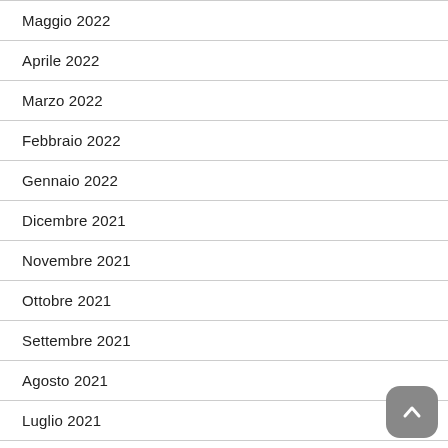Maggio 2022
Aprile 2022
Marzo 2022
Febbraio 2022
Gennaio 2022
Dicembre 2021
Novembre 2021
Ottobre 2021
Settembre 2021
Agosto 2021
Luglio 2021
Giugno 2021
Gennaio 2021